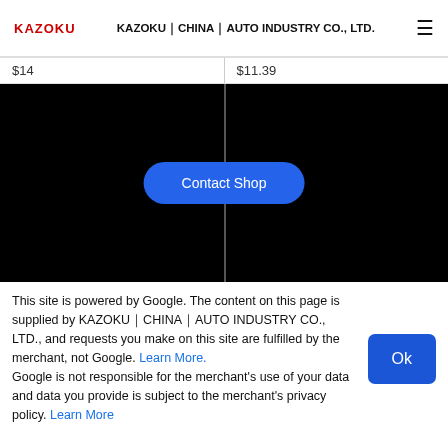KAZOKU　KAZOKU｜CHINA｜AUTO INDUSTRY CO., LTD.
$14
$11.39
[Figure (photo): Two black product image panels side by side with a 'Contact Shop' button overlaid in the center]
This site is powered by Google. The content on this page is supplied by KAZOKU｜CHINA｜AUTO INDUSTRY CO., LTD., and requests you make on this site are fulfilled by the merchant, not Google. Learn More. Google is not responsible for the merchant's use of your data and data you provide is subject to the merchant's privacy policy. Learn More